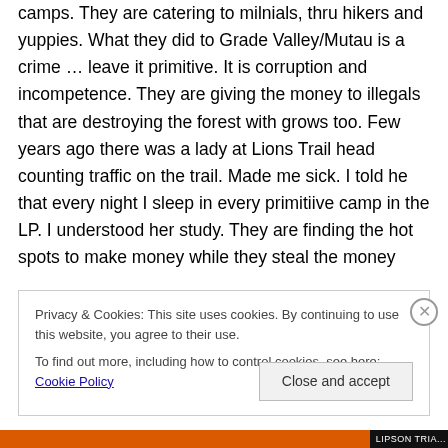camps. They are catering to milnials, thru hikers and yuppies. What they did to Grade Valley/Mutau is a crime … leave it primitive. It is corruption and incompetence. They are giving the money to illegals that are destroying the forest with grows too. Few years ago there was a lady at Lions Trail head counting traffic on the trail. Made me sick. I told he that every night I sleep in every primitiive camp in the LP. I understood her study. They are finding the hot spots to make money while they steal the money
Privacy & Cookies: This site uses cookies. By continuing to use this website, you agree to their use.
To find out more, including how to control cookies, see here: Cookie Policy